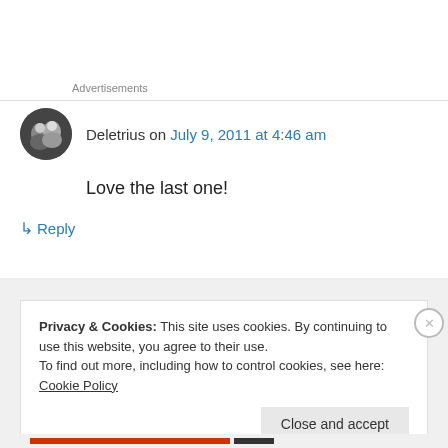Advertisements
Deletrius on July 9, 2011 at 4:46 am
Love the last one!
↳ Reply
Privacy & Cookies: This site uses cookies. By continuing to use this website, you agree to their use.
To find out more, including how to control cookies, see here: Cookie Policy
Close and accept